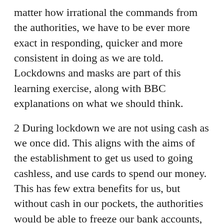matter how irrational the commands from the authorities, we have to be ever more exact in responding, quicker and more consistent in doing as we are told. Lockdowns and masks are part of this learning exercise, along with BBC explanations on what we should think.
2 During lockdown we are not using cash as we once did. This aligns with the aims of the establishment to get us used to going cashless, and use cards to spend our money. This has few extra benefits for us, but without cash in our pockets, the authorities would be able to freeze our bank accounts, steal from it as required, and make us destitute in seconds if we were to offend them. No longer would we be able to borrow fifty quid  from a friend to see us over a period where a bank claims you do not exist as a customer.*